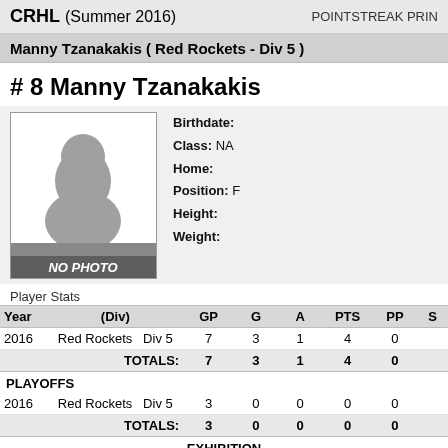CRHL (Summer 2016)   POINTSTREAK PRIN
Manny Tzanakakis ( Red Rockets - Div 5 )
# 8 Manny Tzanakakis
[Figure (photo): Placeholder silhouette photo with NO PHOTO label]
Birthdate:
Class: NA
Home:
Position: F
Height:
Weight:
Player Stats
| Year | (Div) | GP | G | A | PTS | PP | S |
| --- | --- | --- | --- | --- | --- | --- | --- |
| 2016 | Red Rockets   Div 5 | 7 | 3 | 1 | 4 | 0 |  |
|  | TOTALS: | 7 | 3 | 1 | 4 | 0 |  |
| PLAYOFFS |  |  |  |  |  |  |  |
| 2016 | Red Rockets   Div 5 | 3 | 0 | 0 | 0 | 0 |  |
|  | TOTALS: | 3 | 0 | 0 | 0 | 0 |  |
| EXHIBITION |  |  |  |  |  |  |  |
| N/A | Red Rockets   Div 5   D... | 0 | 0 | 0 | 0 | 0 |  |